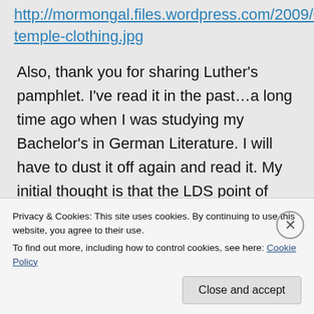http://mormongal.files.wordpress.com/2009/08/lds-temple-clothing.jpg
Also, thank you for sharing Luther's pamphlet. I've read it in the past…a long time ago when I was studying my Bachelor's in German Literature. I will have to dust it off again and read it. My initial thought is that the LDS point of view is in line with Luther in the sense that the seven sacraments of the church had become
Privacy & Cookies: This site uses cookies. By continuing to use this website, you agree to their use.
To find out more, including how to control cookies, see here: Cookie Policy
Close and accept